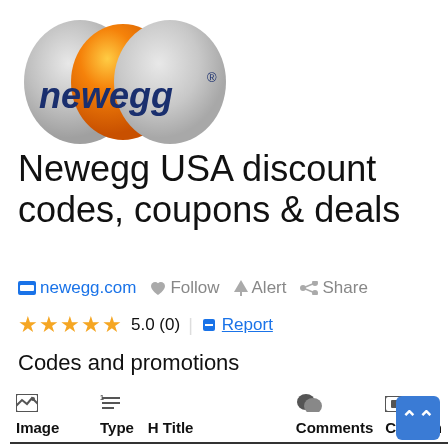[Figure (logo): Newegg logo with two overlapping circles (gray and orange) and the text 'newegg' in dark blue with registered trademark symbol]
Newegg USA discount codes, coupons & deals
newegg.com  Follow  Alert  Share
★★★★★ 5.0 (0)  Report
Codes and promotions
| Image | Type | H Title | Comments | Coupon |
| --- | --- | --- | --- | --- |
| [thumbnail] | Code | % Get 10% off Assassin's | 0 | View |